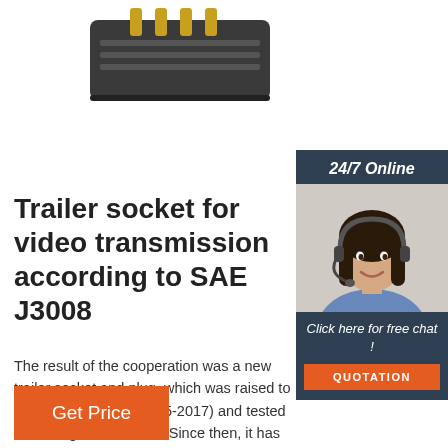[Figure (photo): Close-up photo of a multi-pin trailer socket/connector with gold pins, partially cropped at top of page]
[Figure (photo): 24/7 Online chat sidebar with a smiling female customer service representative wearing a headset, dark navy background, 'Click here for free chat!' text and orange QUOTATION button]
Trailer socket for video transmission according to SAE J3008
The result of the cooperation was a new trailer socket and plug, which was raised to SAE standard J3008 (05-2017) and tested according to USCAR-2. Since then, it has been widely used in the USA. The reason for the initial concentration on the USA is that the general conditions here are different from those in Europe, for example: As in Europe ...
Get Price